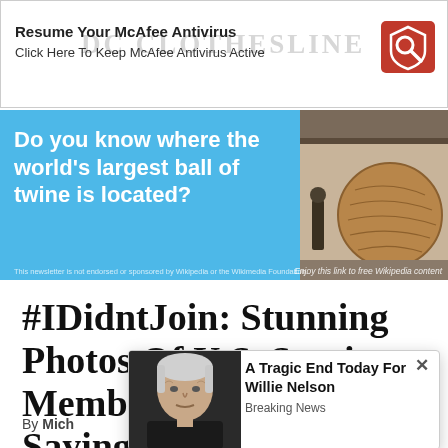[Figure (screenshot): McAfee Antivirus banner ad: 'Resume Your McAfee Antivirus – Click Here To Keep McAfee Antivirus Active' with McAfee logo on right and DC Clothesline watermark in background]
[Figure (screenshot): Wikipedia advertisement banner with blue background showing text 'Do you know where the world's largest ball of twine is located?' with a photo of a large ball of twine on the right side, small disclaimer text at bottom]
#IDidntJoin: Stunning Photos Of U.S. Service Members Publicly Saying No
By Mich
[Figure (screenshot): Popup overlay with close X button showing a photo of Willie Nelson and text 'A Tragic End Today For Willie Nelson' with 'Breaking News' tag below]